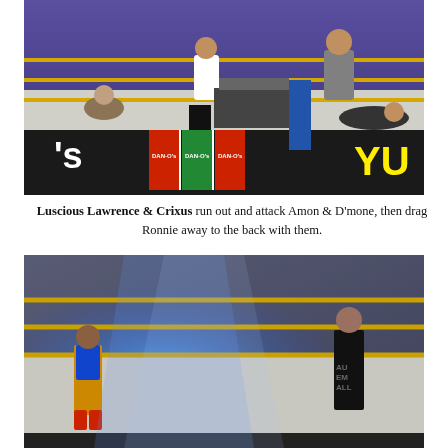[Figure (photo): Wrestling ring scene showing multiple wrestlers and people in a ring with yellow ropes, advertising banners including Dan-O's seasoning and 'YU' visible, blue arena lighting in background.]
Luscious Lawrence & Crixus run out and attack Amon & D'mone, then drag Ronnie away to the back with them.
[Figure (photo): Wrestling ring with two wrestlers visible, blue spotlight lighting the ring, yellow ropes, one wrestler in colorful shorts and boots on left, another in dark attire on right.]